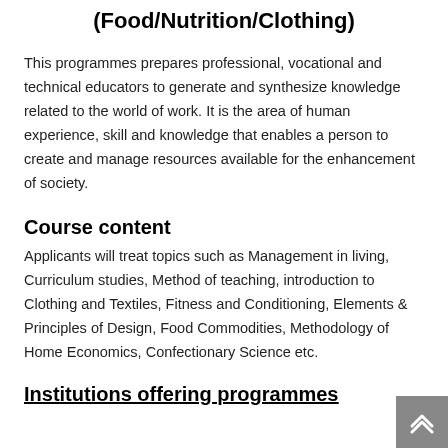(Food/Nutrition/Clothing)
This programmes prepares professional, vocational and technical educators to generate and synthesize knowledge related to the world of work. It is the area of human experience, skill and knowledge that enables a person to create and manage resources available for the enhancement of society.
Course content
Applicants will treat topics such as Management in living, Curriculum studies, Method of teaching, introduction to Clothing and Textiles, Fitness and Conditioning, Elements & Principles of Design, Food Commodities, Methodology of Home Economics, Confectionary Science etc.
Institutions offering programmes